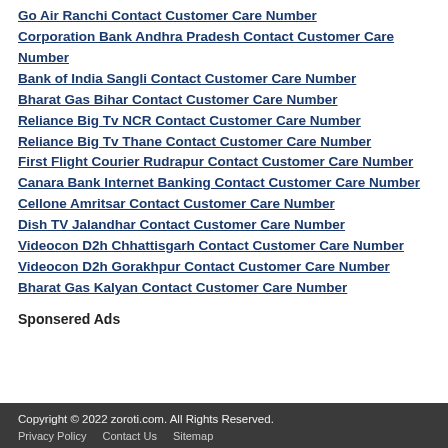Go Air Ranchi Contact Customer Care Number
Corporation Bank Andhra Pradesh Contact Customer Care Number
Bank of India Sangli Contact Customer Care Number
Bharat Gas Bihar Contact Customer Care Number
Reliance Big Tv NCR Contact Customer Care Number
Reliance Big Tv Thane Contact Customer Care Number
First Flight Courier Rudrapur Contact Customer Care Number
Canara Bank Internet Banking Contact Customer Care Number
Cellone Amritsar Contact Customer Care Number
Dish TV Jalandhar Contact Customer Care Number
Videocon D2h Chhattisgarh Contact Customer Care Number
Videocon D2h Gorakhpur Contact Customer Care Number
Bharat Gas Kalyan Contact Customer Care Number
Sponsered Ads
Copyright © 2022 zoroti.com. All Rights Reserved. Privacy Policy  Contact Us  Sitemap